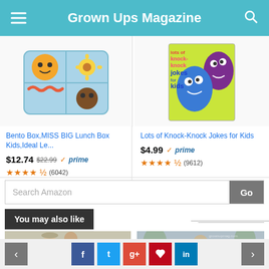Grown Ups Magazine
[Figure (photo): Bento Box product image - colorful food arranged in a blue compartmented lunch box]
Bento Box,MISS BIG Lunch Box Kids,Ideal Le...
$12.74 $22.99 ✓prime
★★★★½ (6042)
[Figure (photo): Book cover - Lots of Knock-Knock Jokes for Kids with colorful cartoon monsters]
Lots of Knock-Knock Jokes for Kids
$4.99 ✓prime
★★★★½ (9612)
Search Amazon
You may also like
[Figure (photo): Two children wearing hats outdoors, smiling]
[Figure (photo): Child in blue jacket looking away outdoors with trees in background]